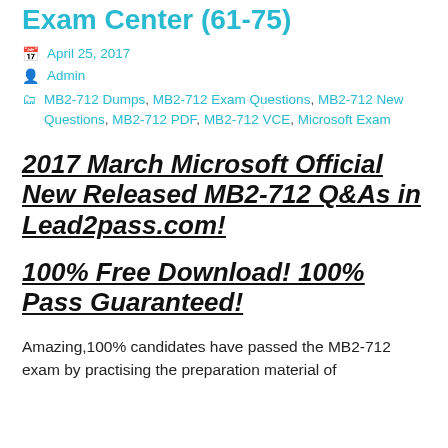Exam Center (61-75)
April 25, 2017
Admin
MB2-712 Dumps, MB2-712 Exam Questions, MB2-712 New Questions, MB2-712 PDF, MB2-712 VCE, Microsoft Exam
2017 March Microsoft Official New Released MB2-712 Q&As in Lead2pass.com!
100% Free Download! 100% Pass Guaranteed!
Amazing,100% candidates have passed the MB2-712 exam by practising the preparation material of